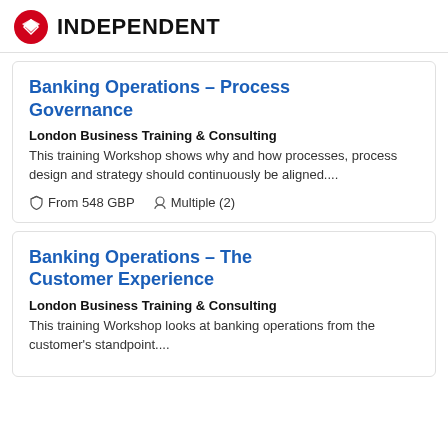INDEPENDENT
Banking Operations – Process Governance
London Business Training & Consulting
This training Workshop shows why and how processes, process design and strategy should continuously be aligned....
From 548 GBP   Multiple (2)
Banking Operations – The Customer Experience
London Business Training & Consulting
This training Workshop looks at banking operations from the customer's standpoint....